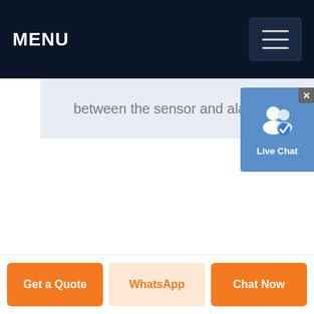MENU
between the sensor and alarm to give a delay of about 1520 sec to the ...
[Figure (screenshot): Live Chat widget with user icon and blue background]
Get a Quote | WhatsApp | Chat Now